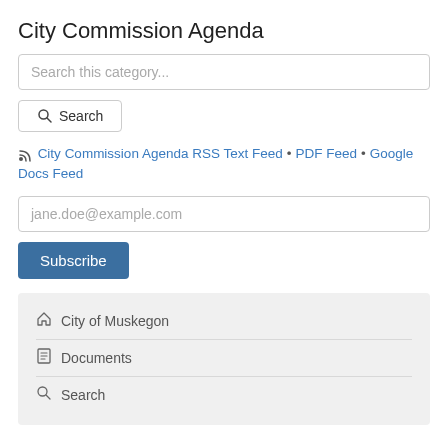City Commission Agenda
Search this category...
Search
City Commission Agenda RSS Text Feed • PDF Feed • Google Docs Feed
jane.doe@example.com
Subscribe
City of Muskegon
Documents
Search